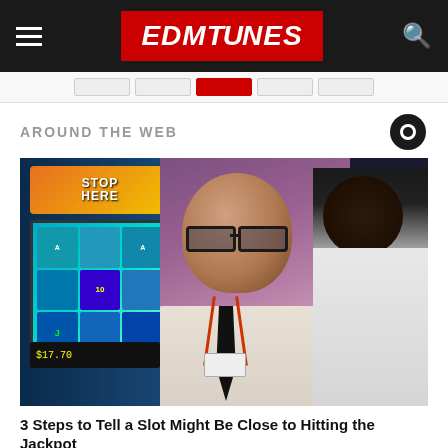EDMTunes
AROUND THE WEB
[Figure (photo): Casino slot machine screen visible on the left alongside two men, one wearing a white dress shirt with a lanyard and tie facing the camera, and another man in a white shirt on the right side.]
3 Steps to Tell a Slot Might Be Close to Hitting the Jackpot